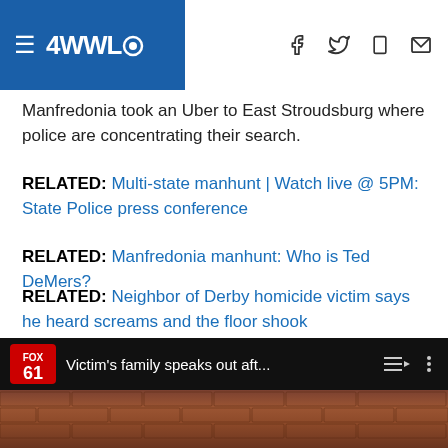4WWL (CBS) navigation header with hamburger menu, logo, and social icons
Manfredonia took an Uber to East Stroudsburg where police are concentrating their search.
RELATED: Multi-state manhunt | Watch live @ 5PM: State Police press conference
RELATED: Manfredonia manhunt: Who is Ted DeMers?
RELATED: Neighbor of Derby homicide victim says he heard screams and the floor shook
RELATED: Manfredonia family hires attorney, says suspect has 'history of mental health issues'
RELATED: Manhunt Suspect: Who is Peter Manfredonia?
[Figure (screenshot): FOX 61 video player showing 'Victim's family speaks out aft...' with playlist and options icons, over a brick wall background image]